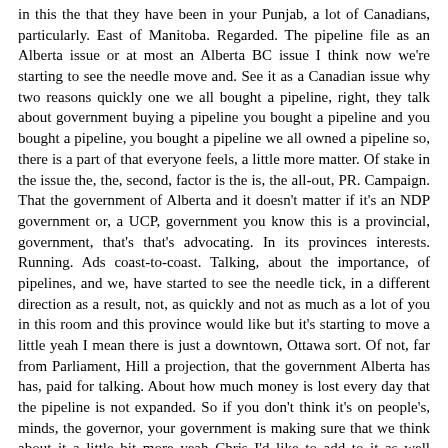in this the that they have been in your Punjab, a lot of Canadians, particularly. East of Manitoba. Regarded. The pipeline file as an Alberta issue or at most an Alberta BC issue I think now we're starting to see the needle move and. See it as a Canadian issue why two reasons quickly one we all bought a pipeline, right, they talk about government buying a pipeline you bought a pipeline and you bought a pipeline, you bought a pipeline we all owned a pipeline so, there is a part of that everyone feels, a little more matter. Of stake in the issue the, the, second, factor is the is, the all-out, PR. Campaign. That the government of Alberta and it doesn't matter if it's an NDP government or, a UCP, government you know this is a provincial, government, that's that's advocating. In its provinces interests. Running. Ads coast-to-coast. Talking, about the importance, of pipelines, and we, have started to see the needle tick, in a different direction as a result, not, as quickly and not as much as a lot of you in this room and this province would like but it's starting to move a little yeah I mean there is just a downtown, Ottawa sort. Of not, far from Parliament, Hill a projection, that the government Alberta has has, paid for talking. About how much money is lost every day that the pipeline is not expanded. So if you don't think it's on people's, minds, the governor, your government is making sure that we think about it a little bit more yeah Chris I'd like to add to it as well because this is really I think the seminal question here in Alberta and thank you for asking it we, have an economic crisis, here in Alberta, and, people, are frustrated, and, they're angry, and, I think it showed in your voice for. The first time in 40 years there's serious, talk of separation, in Alberta and that's not a good thing people. Are frustrated, and, angry, because. We can't build the infrastructure, the pipelines, and this is both oil and natural gas to.
Get A world price a fair price for our natural resources. For, the benefit of all Canadians, this is not simply an Alberta matter. What, we need is, a strong. Clear. Reliable. Workable. Regulatory. System, to allow for, the building of. Environmentally Responsible Infrastructure. And. The good news is we can do